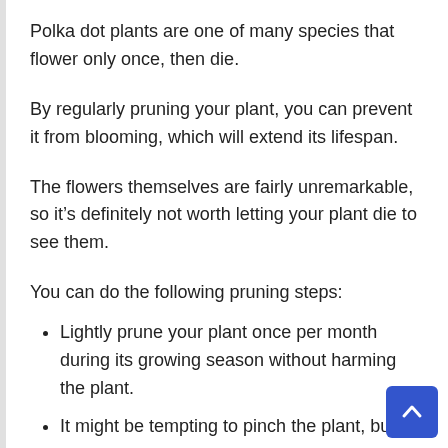Polka dot plants are one of many species that flower only once, then die.
By regularly pruning your plant, you can prevent it from blooming, which will extend its lifespan.
The flowers themselves are fairly unremarkable, so it's definitely not worth letting your plant die to see them.
You can do the following pruning steps:
Lightly prune your plant once per month during its growing season without harming the plant.
It might be tempting to pinch the plant, but